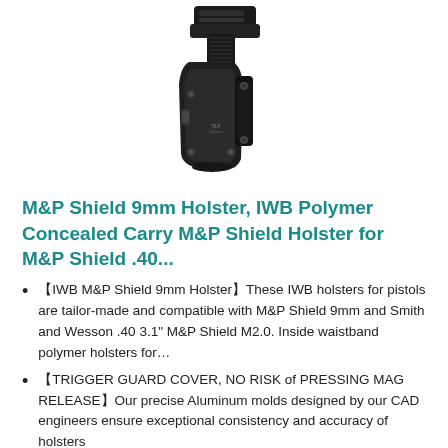[Figure (photo): Product photo of a black IWB polymer holster with a handgun inserted, shown against a white background.]
M&P Shield 9mm Holster, IWB Polymer Concealed Carry M&P Shield Holster for M&P Shield .40...
【IWB M&P Shield 9mm Holster】These IWB holsters for pistols are tailor-made and compatible with M&P Shield 9mm and Smith and Wesson .40 3.1" M&P Shield M2.0. Inside waistband polymer holsters for...
【TRIGGER GUARD COVER, NO RISK of PRESSING MAG RELEASE】Our precise Aluminum molds designed by our CAD engineers ensure exceptional consistency and accuracy of holsters